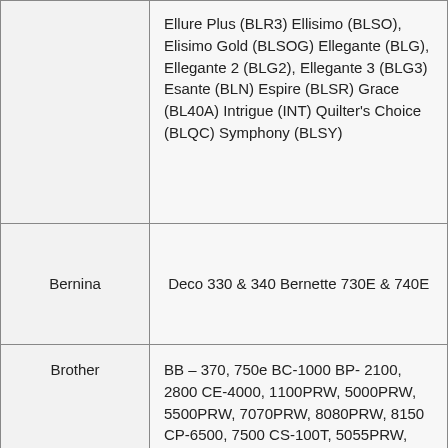| Brand | Models |
| --- | --- |
|  | Ellure Plus (BLR3) Ellisimo (BLSO), Elisimo Gold (BLSOG) Ellegante (BLG), Ellegante 2 (BLG2), Ellegante 3 (BLG3) Esante (BLN) Espire (BLSR) Grace (BL40A) Intrigue (INT) Quilter's Choice (BLQC) Symphony (BLSY) |
| Bernina | Deco 330 & 340 Bernette 730E & 740E |
| Brother | BB – 370, 750e BC-1000 BP- 2100, 2800 CE-4000, 1100PRW, 5000PRW, 5500PRW, 7070PRW, 8080PRW, 8150 CP-6500, 7500 CS-100T, 5055PRW, 6000, 6000B, 6000i, 6000T, 8150 Designio – DZ3000, DZ820E DreamCreator – VM5100, VQ2400 Dreamweaver – VQ3000 DreamWeaver XE – |